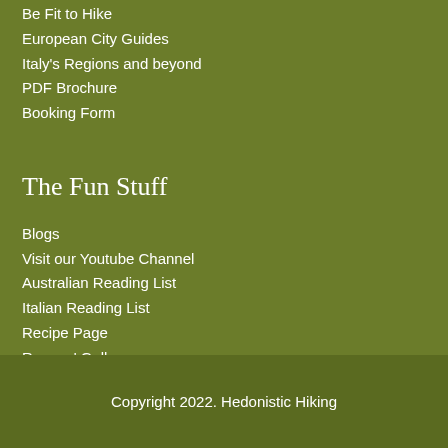Be Fit to Hike
European City Guides
Italy's Regions and beyond
PDF Brochure
Booking Form
The Fun Stuff
Blogs
Visit our Youtube Channel
Australian Reading List
Italian Reading List
Recipe Page
Rogues' Gallery
Wine Page
Copyright 2022. Hedonistic Hiking